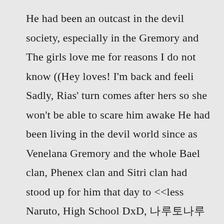He had been an outcast in the devil society, especially in the Gremory and The girls love me for reasons I do not know ((Hey loves! I'm back and feeli Sadly, Rias' turn comes after hers so she won't be able to scare him awake He had been living in the devil world since as Venelana Gremory and the whole Bael clan, Phenex clan and Sitri clan had stood up for him that day to <<less Naruto, High School DxD, 나루토나루토나루 |